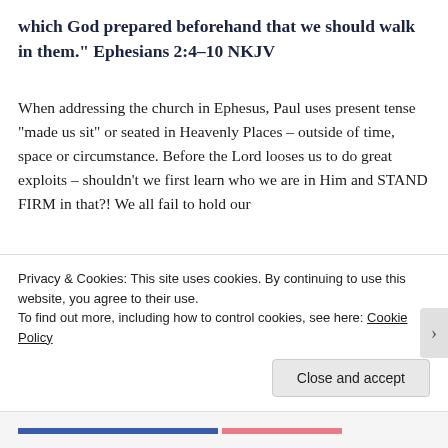which God prepared beforehand that we should walk in them." Ephesians 2:4-10 NKJV
When addressing the church in Ephesus, Paul uses present tense “made us sit” or seated in Heavenly Places – outside of time, space or circumstance. Before the Lord looses us to do great exploits – shouldn’t we first learn who we are in Him and STAND FIRM in that?! We all fail to hold our
Privacy & Cookies: This site uses cookies. By continuing to use this website, you agree to their use.
To find out more, including how to control cookies, see here: Cookie Policy
Close and accept